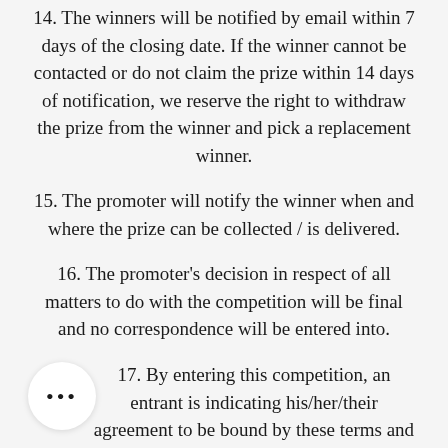14. The winners will be notified by email within 7 days of the closing date. If the winner cannot be contacted or do not claim the prize within 14 days of notification, we reserve the right to withdraw the prize from the winner and pick a replacement winner.
15. The promoter will notify the winner when and where the prize can be collected / is delivered.
16. The promoter's decision in respect of all matters to do with the competition will be final and no correspondence will be entered into.
17. By entering this competition, an entrant is indicating his/her/their agreement to be bound by these terms and conditions.